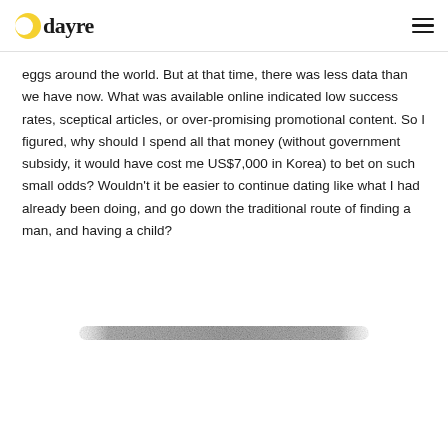dayre
eggs around the world. But at that time, there was less data than we have now. What was available online indicated low success rates, sceptical articles, or over-promising promotional content. So I figured, why should I spend all that money (without government subsidy, it would have cost me US$7,000 in Korea) to bet on such small odds? Wouldn't it be easier to continue dating like what I had already been doing, and go down the traditional route of finding a man, and having a child?
[Figure (photo): A horizontal photo of a blurred grey textured surface, resembling a felt or stone material, shown as a narrow strip.]